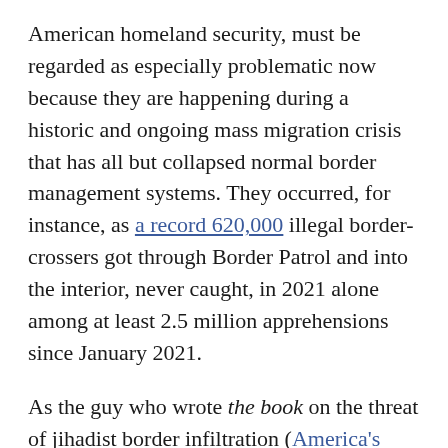American homeland security, must be regarded as especially problematic now because they are happening during a historic and ongoing mass migration crisis that has all but collapsed normal border management systems. They occurred, for instance, as a record 620,000 illegal border-crossers got through Border Patrol and into the interior, never caught, in 2021 alone among at least 2.5 million apprehensions since January 2021.
As the guy who wrote the book on the threat of jihadist border infiltration (America's Covert Border War (Post Hill Press/Bombardier Books March 2021) and who has covered this border crisis, I offer